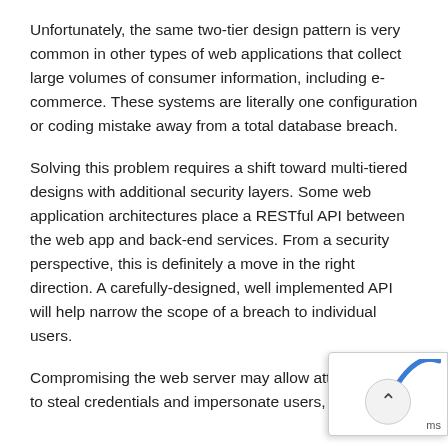Unfortunately, the same two-tier design pattern is very common in other types of web applications that collect large volumes of consumer information, including e-commerce. These systems are literally one configuration or coding mistake away from a total database breach.
Solving this problem requires a shift toward multi-tiered designs with additional security layers. Some web application architectures place a RESTful API between the web app and back-end services. From a security perspective, this is definitely a move in the right direction. A carefully-designed, well implemented API will help narrow the scope of a breach to individual users.
Compromising the web server may allow attackers to steal credentials and impersonate users, but